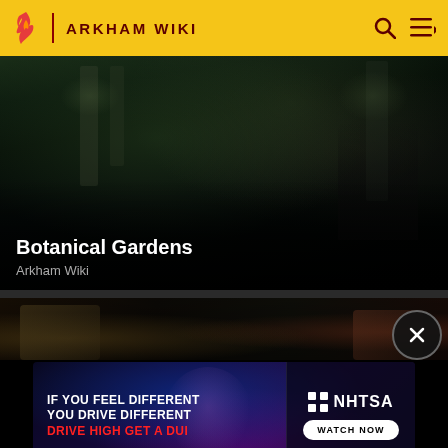ARKHAM WIKI
[Figure (screenshot): Dark gothic game screenshot of Botanical Gardens from Batman Arkham game, showing overgrown ruins with dim green lighting and shadowy figure]
Botanical Gardens
Arkham Wiki
[Figure (screenshot): Dark game screenshot showing armored hands/gauntlets against a dark background]
[Figure (photo): NHTSA advertisement: IF YOU FEEL DIFFERENT YOU DRIVE DIFFERENT DRIVE HIGH GET A DUI. Shows a man in purple suit under colorful lighting with NHTSA logo and WATCH NOW button.]